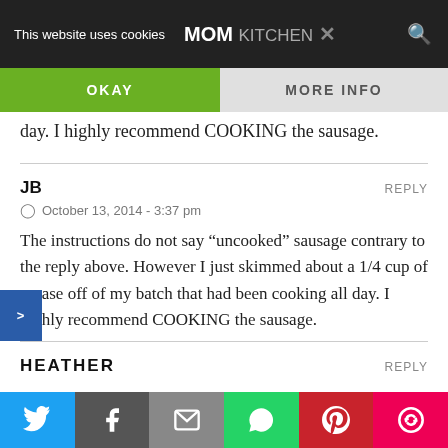This website uses cookies | MOM KITCHEN | OKAY | MORE INFO
day. I highly recommend COOKING the sausage.
JB
REPLY
October 13, 2014 - 3:37 pm
The instructions do not say “uncooked” sausage contrary to the reply above. However I just skimmed about a 1/4 cup of grease off of my batch that had been cooking all day. I highly recommend COOKING the sausage.
HEATHER
REPLY